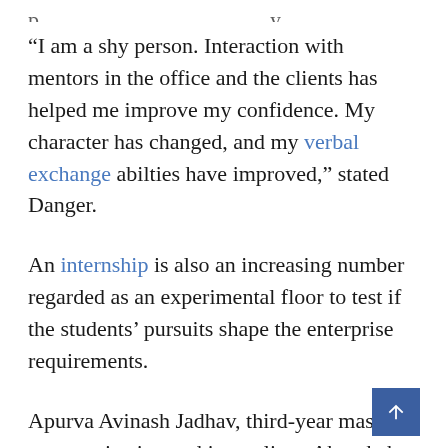“I am a shy person. Interaction with mentors in the office and the clients has helped me improve my confidence. My character has changed, and my verbal exchange abilties have improved,” stated Danger.
An internship is also an increasing number regarded as an experimental floor to test if the students’ pursuits shape the enterprise requirements.
Apurva Avinash Jadhav, third-year mass communication and journalism, Abasaheb Garware College, determined her calling in radio jockeying. She got an opportunity to